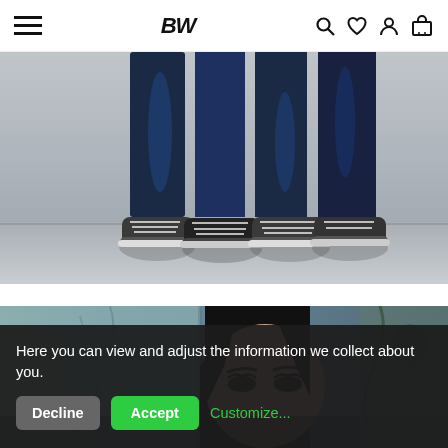BW – navigation bar with hamburger menu, logo BW, search, wishlist, account, and cart icons
[Figure (photo): Lower half of two people wearing dark jeans and grey/black sneakers standing on a concrete surface against a grey wall background]
[Figure (photo): Close-up of a woman's face, from nose up, with long dark hair and dramatic eye makeup, in front of a teal/grey art background]
Here you can view and adjust the information we collect about you.
Decline  Accept  Customize...